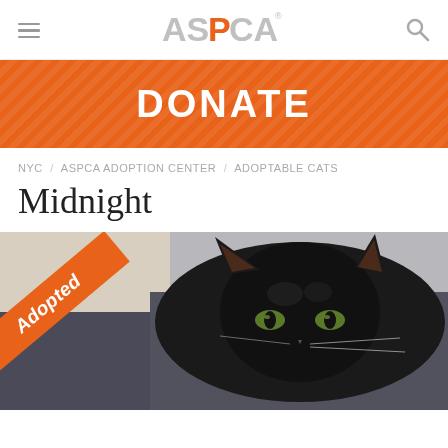ASPCA
DONATE
NYC / ASPCA ADOPTION CENTER / ADOPTABLE CATS
Midnight
[Figure (photo): Photo of a black cat named Midnight looking at the camera, with an orange diagonal 'Adopted' ribbon overlaid on the bottom-left corner of the image.]